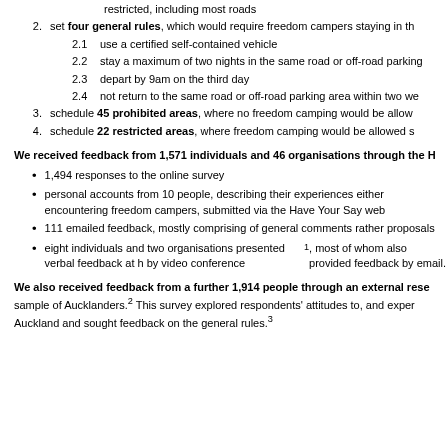restricted, including most roads
set four general rules, which would require freedom campers staying in th...
2.1  use a certified self-contained vehicle
2.2  stay a maximum of two nights in the same road or off-road parking...
2.3  depart by 9am on the third day
2.4  not return to the same road or off-road parking area within two we...
schedule 45 prohibited areas, where no freedom camping would be allow...
schedule 22 restricted areas, where freedom camping would be allowed s...
We received feedback from 1,571 individuals and 46 organisations through the H...
1,494 responses to the online survey
personal accounts from 10 people, describing their experiences either encountering freedom campers, submitted via the Have Your Say web...
111 emailed feedback, mostly comprising of general comments rather proposals
eight individuals and two organisations presented verbal feedback at h... by video conference1, most of whom also provided feedback by email.
We also received feedback from a further 1,914 people through an external rese... sample of Aucklanders.2 This survey explored respondents' attitudes to, and exper... Auckland and sought feedback on the general rules.3